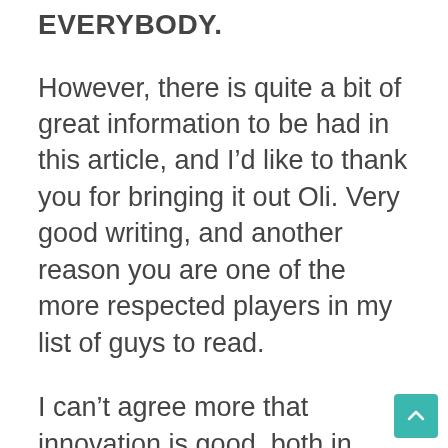EVERYBODY.
However, there is quite a bit of great information to be had in this article, and I’d like to thank you for bringing it out Oli. Very good writing, and another reason you are one of the more respected players in my list of guys to read.
I can’t agree more that innovation is good, both in Limited and Constructed. For example, a friend of mine opened a Sea pool at the Release that was very weak in